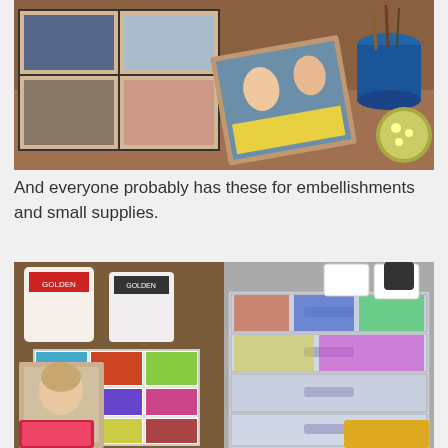[Figure (photo): Photo of a decorated storage box/organizer on a desk with photos decoupaged on the sides, open compartments with papers, and art supplies in a blue cup in the background.]
And everyone probably has these for embellishments and small supplies.
[Figure (photo): Photo of art/craft supply storage units on a wooden surface including a white grid shadow box, plastic drawer organizers filled with embellishments, Golden brand paint containers, and colorful tins.]